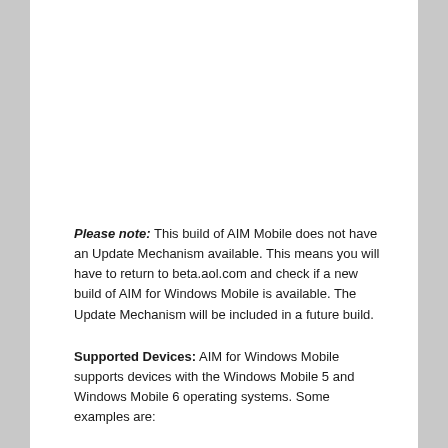Please note: This build of AIM Mobile does not have an Update Mechanism available. This means you will have to return to beta.aol.com and check if a new build of AIM for Windows Mobile is available. The Update Mechanism will be included in a future build.
Supported Devices: AIM for Windows Mobile supports devices with the Windows Mobile 5 and Windows Mobile 6 operating systems. Some examples are:
T-Mobile Wing